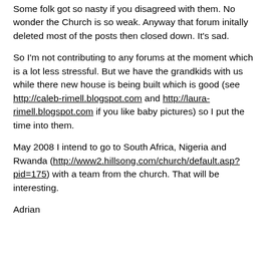Some folk got so nasty if you disagreed with them. No wonder the Church is so weak. Anyway that forum initally deleted most of the posts then closed down. It's sad.
So I'm not contributing to any forums at the moment which is a lot less stressful. But we have the grandkids with us while there new house is being built which is good (see http://caleb-rimell.blogspot.com and http://laura-rimell.blogspot.com if you like baby pictures) so I put the time into them.
May 2008 I intend to go to South Africa, Nigeria and Rwanda (http://www2.hillsong.com/church/default.asp?pid=175) with a team from the church. That will be interesting.
Adrian